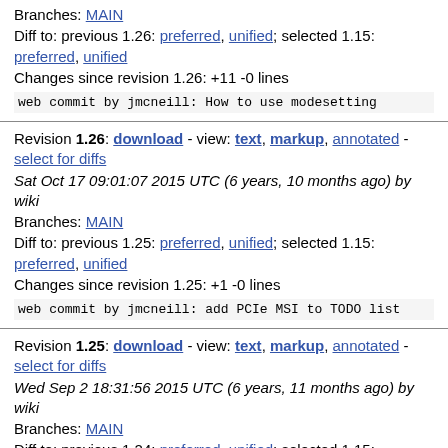Branches: MAIN
Diff to: previous 1.26: preferred, unified; selected 1.15: preferred, unified
Changes since revision 1.26: +11 -0 lines
web commit by jmcneill: How to use modesetting
Revision 1.26: download - view: text, markup, annotated - select for diffs
Sat Oct 17 09:01:07 2015 UTC (6 years, 10 months ago) by wiki
Branches: MAIN
Diff to: previous 1.25: preferred, unified; selected 1.15: preferred, unified
Changes since revision 1.25: +1 -0 lines
web commit by jmcneill: add PCIe MSI to TODO list
Revision 1.25: download - view: text, markup, annotated - select for diffs
Wed Sep 2 18:31:56 2015 UTC (6 years, 11 months ago) by wiki
Branches: MAIN
Diff to: previous 1.24: preferred, unified; selected 1.15: preferred, unified
Changes since revision 1.24: +4 -0 lines
web commit by jmcneill: How to get U-Boot